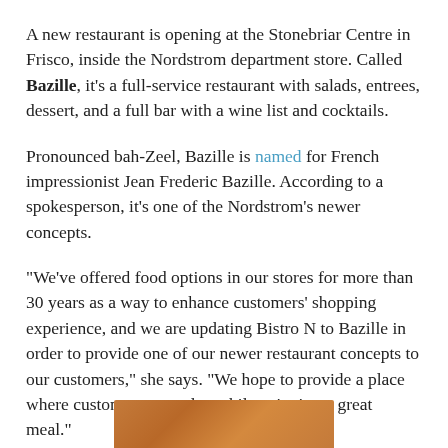A new restaurant is opening at the Stonebriar Centre in Frisco, inside the Nordstrom department store. Called Bazille, it's a full-service restaurant with salads, entrees, dessert, and a full bar with a wine list and cocktails.
Pronounced bah-Zeel, Bazille is named for French impressionist Jean Frederic Bazille. According to a spokesperson, it's one of the Nordstrom's newer concepts.
"We've offered food options in our stores for more than 30 years as a way to enhance customers' shopping experience, and we are updating Bistro N to Bazille in order to provide one of our newer restaurant concepts to our customers," she says. "We hope to provide a place where customers can relax while enjoying a great meal."
[Figure (photo): A partial view of a wooden surface or food item, showing warm brown tones, cropped at the bottom of the page.]